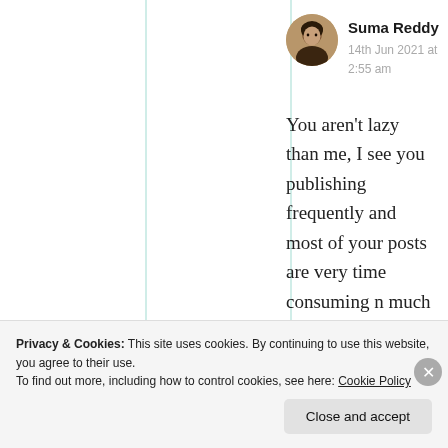[Figure (photo): Circular avatar photo of Suma Reddy, a woman with dark hair]
Suma Reddy
14th Jun 2021 at 2:55 am
You aren't lazy than me, I see you publishing frequently and most of your posts are very time consuming n much informative Rabia. You are just crazy 😘 ❤️ 🌼
Privacy & Cookies: This site uses cookies. By continuing to use this website, you agree to their use.
To find out more, including how to control cookies, see here: Cookie Policy
Close and accept